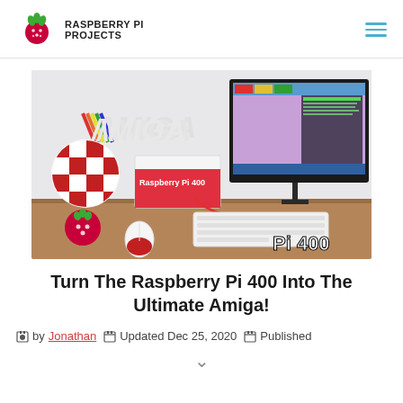RASPBERRY PI PROJECTS
[Figure (photo): Photo of a Raspberry Pi 400 computer connected to a monitor displaying an Amiga OS interface, with Amiga branding, a checkered ball, a Raspberry Pi mouse and the text 'Pi 400' visible.]
Turn The Raspberry Pi 400 Into The Ultimate Amiga!
by Jonathan  Updated Dec 25, 2020  Published